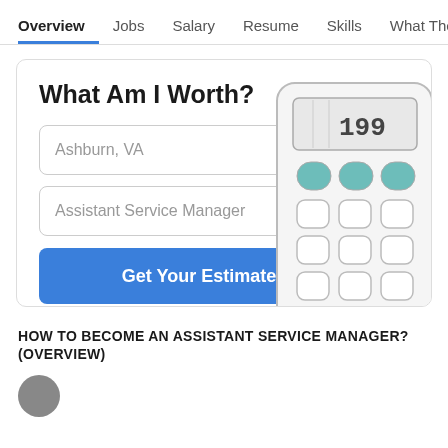Overview  Jobs  Salary  Resume  Skills  What They >
What Am I Worth?
Ashburn, VA
Assistant Service Manager
Get Your Estimate
[Figure (illustration): A calculator graphic partially cropped at right side of card, showing display with '199' and rows of calculator buttons, some teal colored]
HOW TO BECOME AN ASSISTANT SERVICE MANAGER? (OVERVIEW)